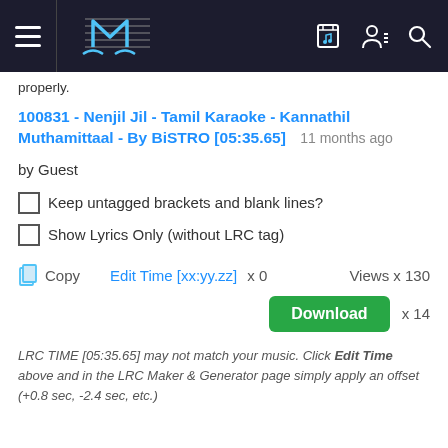Navigation bar with hamburger menu, logo, and icons
properly.
100831 - Nenjil Jil - Tamil Karaoke - Kannathil Muthamittaal - By BiSTRO [05:35.65]   11 months ago
by Guest
Keep untagged brackets and blank lines?
Show Lyrics Only (without LRC tag)
Copy   Edit Time [xx:yy.zz]  x 0    Views x 130
Download  x 14
LRC TIME [05:35.65] may not match your music. Click Edit Time above and in the LRC Maker & Generator page simply apply an offset (+0.8 sec, -2.4 sec, etc.)